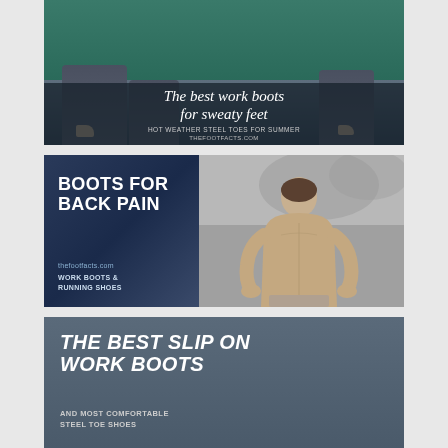[Figure (photo): Blog post thumbnail: overhead view of two people sitting with feet dangling near water. Dark overlay at bottom with italic serif title 'The best work boots for sweaty feet', subtitle 'HOT WEATHER STEEL TOES FOR SUMMER', and URL 'THEFOOTFACTS.COM']
[Figure (photo): Blog post thumbnail split layout: left dark blue panel with bold uppercase text 'BOOTS FOR BACK PAIN', URL 'thefootfacts.com', and subtext 'WORK BOOTS & RUNNING SHOES'. Right panel is a black-and-white photo of a shirtless man viewed from behind.]
[Figure (photo): Blog post thumbnail with blue-grey background: bold italic uppercase text 'THE BEST SLIP ON WORK BOOTS' and subtext 'AND MOST COMFORTABLE STEEL TOE SHOES']